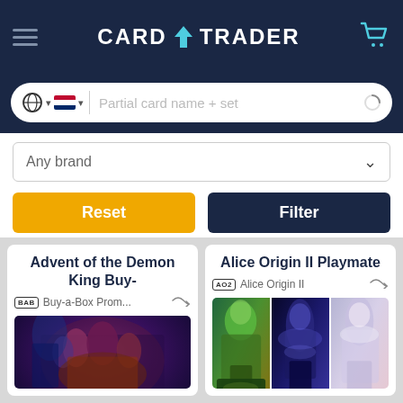CARD TRADER
Partial card name + set
Any brand
Reset
Filter
Advent of the Demon King Buy-
BAB  Buy-a-Box Prom...
[Figure (illustration): Fantasy card game artwork showing demons and characters on dark background]
Alice Origin II Playmate
AO2  Alice Origin II
[Figure (illustration): Three trading cards fanned out showing fantasy game characters]